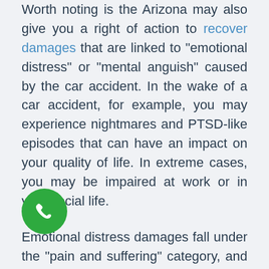Worth noting is the Arizona may also give you a right of action to recover damages that are linked to "emotional distress" or "mental anguish" caused by the car accident. In the wake of a car accident, for example, you may experience nightmares and PTSD-like episodes that can have an impact on your quality of life. In extreme cases, you may be impaired at work or in your social life.
Emotional distress damages fall under the "pain and suffering" category, and as such, form a key component of any car accident dispute. You may also bring a separate action for emotional distress — either intentional infliction of emotional distress or negligent infliction of emotional distress, and thereby recover for damages that do not necessarily flow from a physical
[Figure (other): Green circular phone/call button icon in the bottom left area of the page]